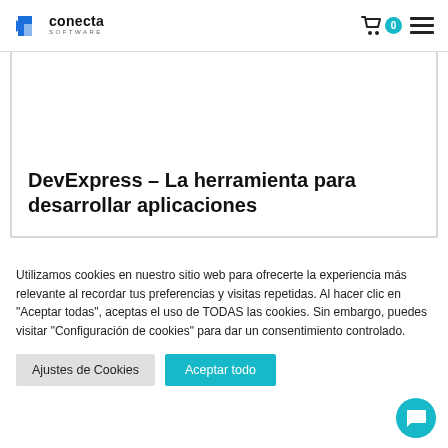conecta SOFTWARE — header with cart (0) and menu icon
DevExpress – La herramienta para desarrollar aplicaciones
Utilizamos cookies en nuestro sitio web para ofrecerte la experiencia más relevante al recordar tus preferencias y visitas repetidas. Al hacer clic en "Aceptar todas", aceptas el uso de TODAS las cookies. Sin embargo, puedes visitar "Configuración de cookies" para dar un consentimiento controlado.
Ajustes de Cookies
Aceptar todo